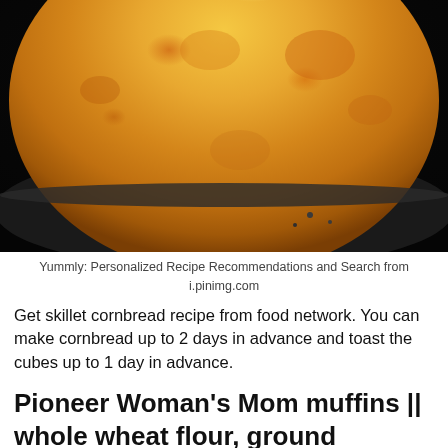[Figure (photo): Close-up photo of golden-brown skillet cornbread in a black cast iron skillet, viewed from above at an angle showing the domed top surface with rustic golden and orange-brown coloring.]
Yummly: Personalized Recipe Recommendations and Search from i.pinimg.com
Get skillet cornbread recipe from food network. You can make cornbread up to 2 days in advance and toast the cubes up to 1 day in advance.
Pioneer Woman's Mom muffins || whole wheat flour, ground